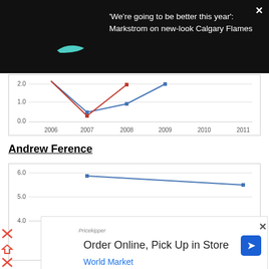'We're going to be better this year': Markstrom on new-look Calgary Flames
[Figure (line-chart): ]
Andrew Ference
[Figure (line-chart): ]